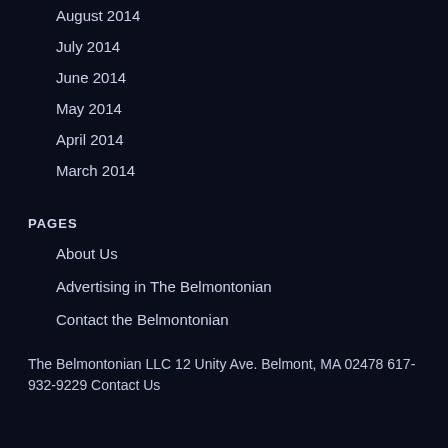August 2014
July 2014
June 2014
May 2014
April 2014
March 2014
PAGES
About Us
Advertising in The Belmontonian
Contact the Belmontonian
The Belmontonian LLC 12 Unity Ave. Belmont, MA 02478 617-932-9229 Contact Us